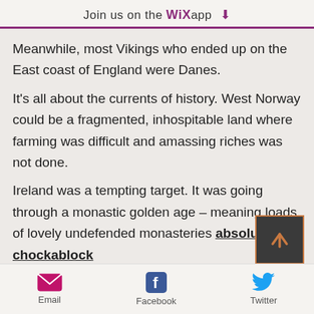Join us on the WiX app
Meanwhile, most Vikings who ended up on the East coast of England were Danes.

It's all about the currents of history. West Norway could be a fragmented, inhospitable land where farming was difficult and amassing riches was not done.

Ireland was a tempting target. It was going through a monastic golden age – meaning loads of lovely undefended monasteries absolutely chockablock
Email  Facebook  Twitter